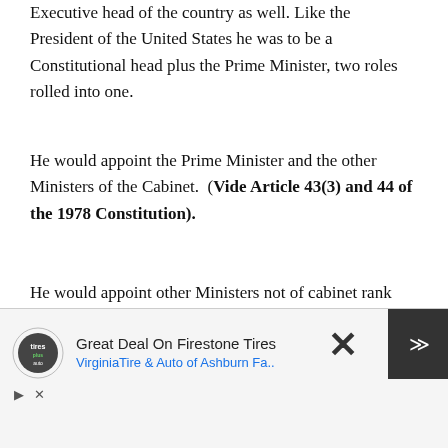Executive head of the country as well. Like the President of the United States he was to be a Constitutional head plus the Prime Minister, two roles rolled into one.
He would appoint the Prime Minister and the other Ministers of the Cabinet. (Vide Article 43(3) and 44 of the 1978 Constitution).
He would appoint other Ministers not of cabinet rank too. (Vide Article 45-ibid).
He would not cease to be the leader of his political party and therefore it would be his policy that would be implemented.(Vide
[Figure (other): Advertisement banner for Firestone Tires / Virginia Tire & Auto of Ashburn with logo, arrow icon, close button, and scroll-up controls]